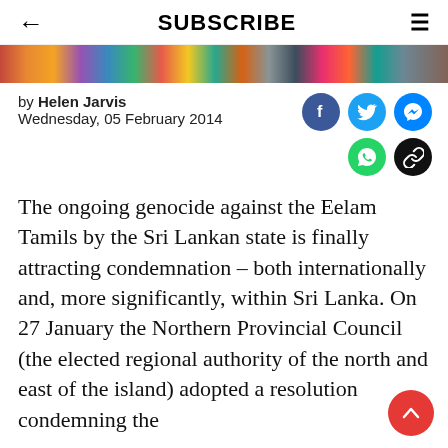← SUBSCRIBE ≡
[Figure (photo): Horizontal strip of colorful crowd/people photos used as hero image]
by Helen Jarvis
Wednesday, 05 February 2014
[Figure (infographic): Social sharing buttons: Facebook (blue), Twitter (light blue), Messenger (blue), WhatsApp (green), Link (black)]
The ongoing genocide against the Eelam Tamils by the Sri Lankan state is finally attracting condemnation – both internationally and, more significantly, within Sri Lanka. On 27 January the Northern Provincial Council (the elected regional authority of the north and east of the island) adopted a resolution condemning the